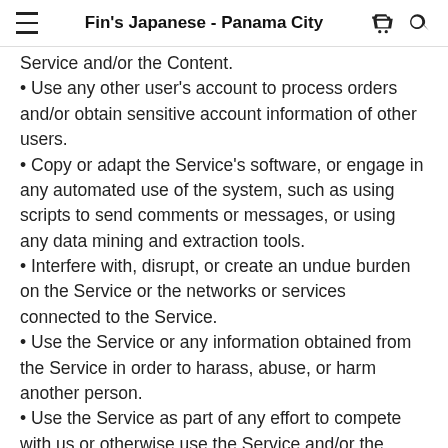Fin's Japanese - Panama City
Service and/or the Content.
Use any other user's account to process orders and/or obtain sensitive account information of other users.
Copy or adapt the Service's software, or engage in any automated use of the system, such as using scripts to send comments or messages, or using any data mining and extraction tools.
Interfere with, disrupt, or create an undue burden on the Service or the networks or services connected to the Service.
Use the Service or any information obtained from the Service in order to harass, abuse, or harm another person.
Use the Service as part of any effort to compete with us or otherwise use the Service and/or the Content for any revenue generating endeavor or commercial enterprise.